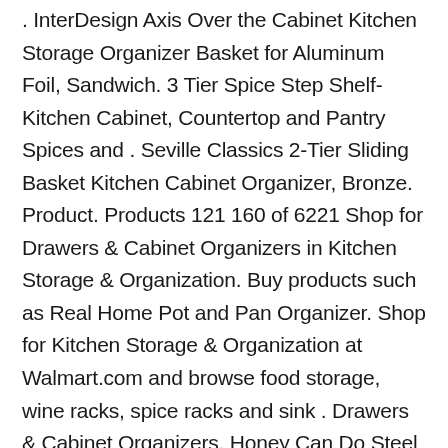. InterDesign Axis Over the Cabinet Kitchen Storage Organizer Basket for Aluminum Foil, Sandwich. 3 Tier Spice Step Shelf- Kitchen Cabinet, Countertop and Pantry Spices and . Seville Classics 2-Tier Sliding Basket Kitchen Cabinet Organizer, Bronze. Product. Products 121 160 of 6221 Shop for Drawers & Cabinet Organizers in Kitchen Storage & Organization. Buy products such as Real Home Pot and Pan Organizer. Shop for Kitchen Storage & Organization at Walmart.com and browse food storage, wine racks, spice racks and sink . Drawers & Cabinet Organizers. Honey Can Do Steel Under Cabinet Organizer with Pull out Tray, Chrome . Kitchen Sliding Cabinet Organizer,VBESTLIFE Pull Out Chrome Wire Storage. Products 1 40 of 393 Shop for Cabinet Organizers & Holders Drawers & Cabinet Organizers in Kitchen Storage & Organization. Buy products such as 14-